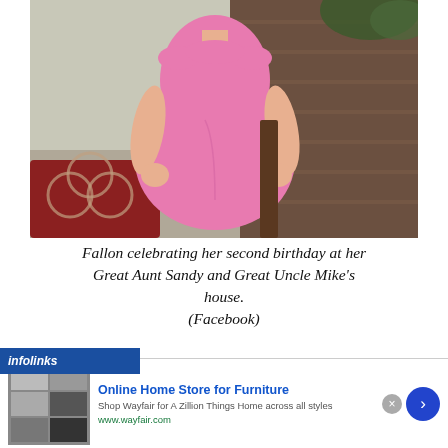[Figure (photo): A young girl (approximately 2 years old) wearing a pink short-sleeve dress, standing on a wooden deck. A red patterned rug and wooden railing are visible in the background.]
Fallon celebrating her second birthday at her Great Aunt Sandy and Great Uncle Mike's house. (Facebook)
[Figure (screenshot): An infolinks advertisement overlay showing a Wayfair ad: 'Online Home Store for Furniture - Shop Wayfair for A Zillion Things Home across all styles - www.wayfair.com' with a product image on the left and a blue arrow button on the right.]